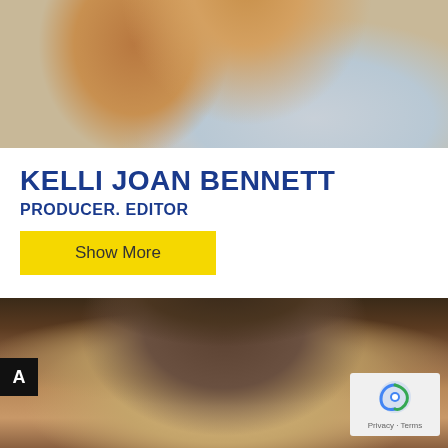[Figure (photo): Close-up photo of a woman with blonde/reddish hair, partial face visible, light background]
KELLI JOAN BENNETT
PRODUCER. EDITOR
Show More
[Figure (photo): Close-up photo of a dark-haired man, showing forehead and upper face, warm brown background]